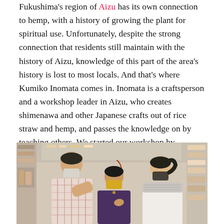Fukushima's region of Aizu has its own connection to hemp, with a history of growing the plant for spiritual use. Unfortunately, despite the strong connection that residents still maintain with the history of Aizu, knowledge of this part of the area's history is lost to most locals. And that's where Kumiko Inomata comes in. Inomata is a craftsperson and a workshop leader in Aizu, who creates shimenawa and other Japanese crafts out of rice straw and hemp, and passes the knowledge on by teaching others. We started our workshop by learning all about the materials we would be working with, and why they were a meaningful part of Aizu culture.
[Figure (photo): Three people wearing face masks in what appears to be a Japanese souvenir or craft shop. A man in a plaid shirt stands on the left, a shorter woman with a yellow mask in the center, and a woman with a ponytail on the right. A large orange/red decorative umbrella is visible in the background among shop shelves.]